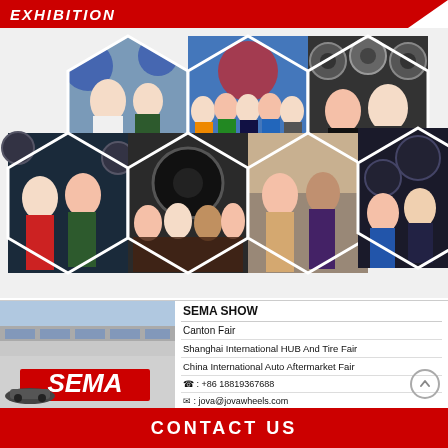EXHIBITION
[Figure (photo): Collage of hexagonal photos showing people at auto wheel/tire trade show exhibitions, featuring groups of attendees and staff posing with wheel display products]
[Figure (photo): SEMA Show building exterior with large red SEMA logo sign in foreground]
SEMA SHOW
Canton Fair
Shanghai International HUB And Tire Fair
China International Auto Aftermarket Fair
☎ : +86 18819367688
✉ : jova@jovawheels.com
CONTACT US